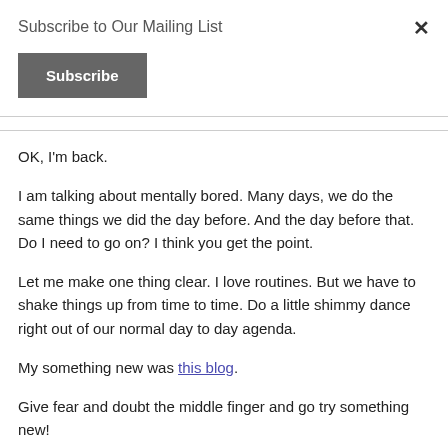Subscribe to Our Mailing List
Subscribe
OK, I'm back.
I am talking about mentally bored. Many days, we do the same things we did the day before. And the day before that. Do I need to go on? I think you get the point.
Let me make one thing clear. I love routines. But we have to shake things up from time to time. Do a little shimmy dance right out of our normal day to day agenda.
My something new was this blog.
Give fear and doubt the middle finger and go try something new!